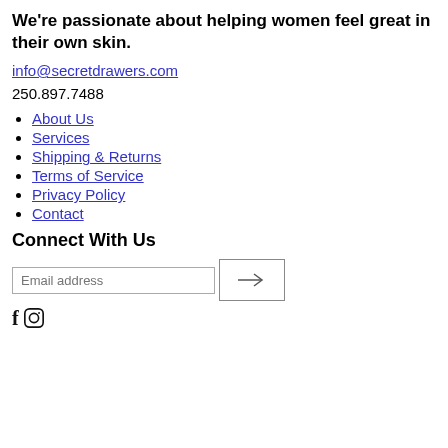We're passionate about helping women feel great in their own skin.
info@secretdrawers.com
250.897.7488
About Us
Services
Shipping & Returns
Terms of Service
Privacy Policy
Contact
Connect With Us
[Figure (other): Email address input field with arrow/submit button and social media icons (Facebook, Instagram)]